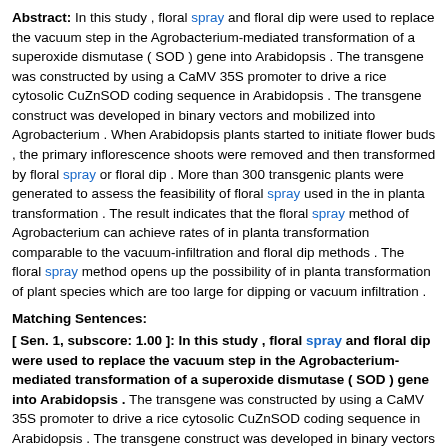Abstract: In this study , floral spray and floral dip were used to replace the vacuum step in the Agrobacterium-mediated transformation of a superoxide dismutase ( SOD ) gene into Arabidopsis . The transgene was constructed by using a CaMV 35S promoter to drive a rice cytosolic CuZnSOD coding sequence in Arabidopsis . The transgene construct was developed in binary vectors and mobilized into Agrobacterium . When Arabidopsis plants started to initiate flower buds , the primary inflorescence shoots were removed and then transformed by floral spray or floral dip . More than 300 transgenic plants were generated to assess the feasibility of floral spray used in the in planta transformation . The result indicates that the floral spray method of Agrobacterium can achieve rates of in planta transformation comparable to the vacuum-infiltration and floral dip methods . The floral spray method opens up the possibility of in planta transformation of plant species which are too large for dipping or vacuum infiltration .
Matching Sentences:
[ Sen. 1, subscore: 1.00 ]: In this study , floral spray and floral dip were used to replace the vacuum step in the Agrobacterium-mediated transformation of a superoxide dismutase ( SOD ) gene into Arabidopsis . The transgene was constructed by using a CaMV 35S promoter to drive a rice cytosolic CuZnSOD coding sequence in Arabidopsis . The transgene construct was developed in binary vectors and mobilized into Agrobacterium . When Arabidopsis plants started to initiate flower buds , the primary inflorescence shoots were removed and then transformed by floral spray or floral dip . More than 300 transgenic plants were generated to assess the feasibility of floral spray used in the in planta transformation . The result indicates that the floral spray method of Agrobacterium can achieve rates of in planta transformation comparable to the vacuum-infiltration and floral dip methods . The floral